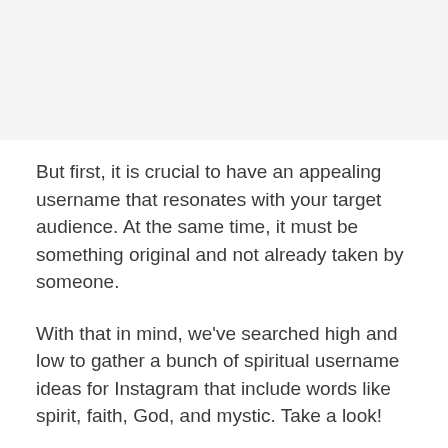[Figure (other): Gray placeholder image area at top of page]
But first, it is crucial to have an appealing username that resonates with your target audience. At the same time, it must be something original and not already taken by someone.
With that in mind, we've searched high and low to gather a bunch of spiritual username ideas for Instagram that include words like spirit, faith, God, and mystic. Take a look!